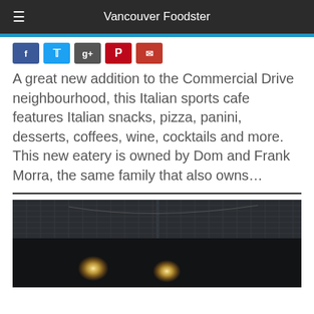Vancouver Foodster
[Figure (screenshot): Social sharing buttons: Facebook (blue), Twitter (blue), Google+ (gray), Pinterest (red), Email (red)]
A great new addition to the Commercial Drive neighbourhood, this Italian sports cafe features Italian snacks, pizza, panini, desserts, coffees, wine, cocktails and more. This new eatery is owned by Dom and Frank Morra, the same family that also owns…
[Figure (photo): Dark interior photo of a restaurant/cafe showing a mesh screen or partition ceiling with lights below, dark ambiance.]